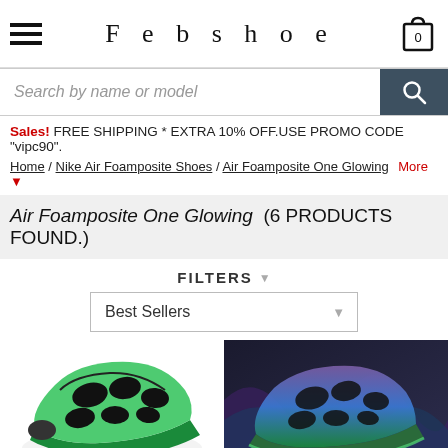Febshoe
Search by name or model
Sales! FREE SHIPPING * EXTRA 10% OFF.USE PROMO CODE "vipc90".
Home / Nike Air Foamposite Shoes / Air Foamposite One Glowing More ▼
Air Foamposite One Glowing  (6 PRODUCTS FOUND.)
FILTERS ▼
Best Sellers
[Figure (photo): Air Foamposite One Glowing sneakers - left product image on white background]
[Figure (photo): Air Foamposite One Glowing sneakers - right product image on dark background]